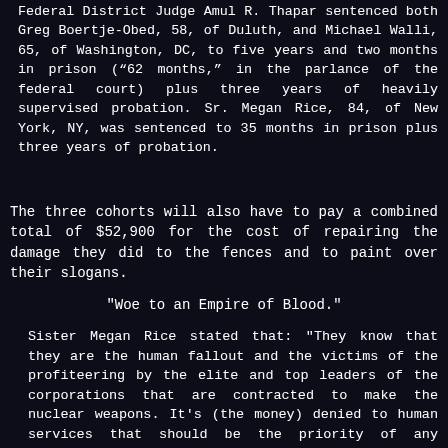Federal District Judge Amul R. Thapar sentenced both Greg Boertje-Obed, 58, of Duluth, and Michael Walli, 65, of Washington, DC, to five years and two months in prison (“62 months,” in the parlance of the federal court) plus three years of heavily supervised probation. Sr. Megan Rice, 84, of New York, NY, was sentenced to 35 months in prison plus three years of probation.
The three cohorts will also have to pay a combined total of $52,900 for the cost of repairing the damage they did to the fences and to paint over their slogans.
"Woe to an Empire of Blood."
Sister Megan Rice stated that: "They know that they are the human fallout and the victims of the profiteering by the elite and top leaders of the corporations that are contracted to make the nuclear weapons. It’s (the money) denied to human services that should be the priority of any government."